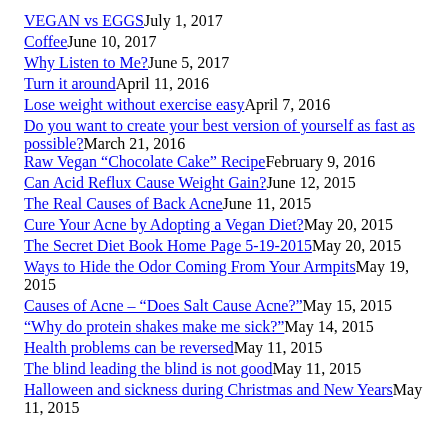VEGAN vs EGGS    July 1, 2017
Coffee    June 10, 2017
Why Listen to Me?    June 5, 2017
Turn it around    April 11, 2016
Lose weight without exercise easy    April 7, 2016
Do you want to create your best version of yourself as fast as possible?    March 21, 2016
Raw Vegan “Chocolate Cake” Recipe    February 9, 2016
Can Acid Reflux Cause Weight Gain?    June 12, 2015
The Real Causes of Back Acne    June 11, 2015
Cure Your Acne by Adopting a Vegan Diet?    May 20, 2015
The Secret Diet Book Home Page 5-19-2015    May 20, 2015
Ways to Hide the Odor Coming From Your Armpits    May 19, 2015
Causes of Acne – “Does Salt Cause Acne?”    May 15, 2015
“Why do protein shakes make me sick?”    May 14, 2015
Health problems can be reversed    May 11, 2015
The blind leading the blind is not good    May 11, 2015
Halloween and sickness during Christmas and New Years    May 11, 2015